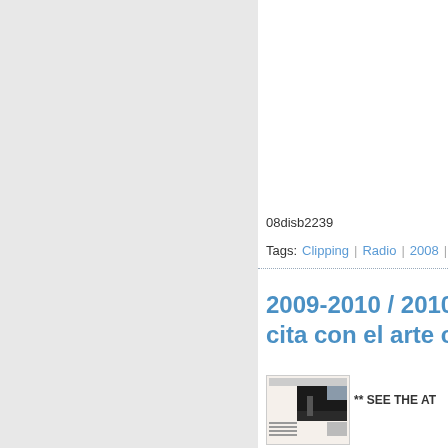08disb2239
Tags: Clipping | Radio | 2008 | So
2009-2010 / 2010... cita con el arte co...
** SEE THE AT
[Figure (photo): Thumbnail of a newspaper clipping showing an artwork/image]